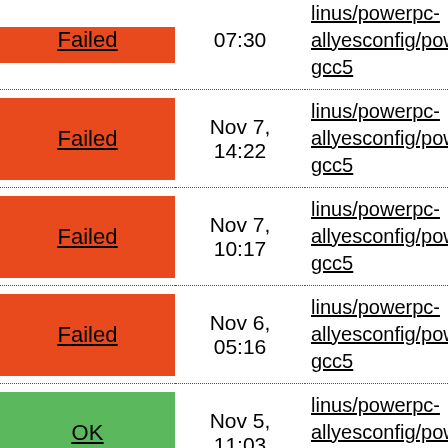| Status | Date | Link |
| --- | --- | --- |
| (partial) Failed | 07:30 | linus/powerpc-allyesconfig/powerpc-gcc5 |
| Failed | Nov 7, 14:22 | linus/powerpc-allyesconfig/powerpc-gcc5 |
| Failed | Nov 7, 10:17 | linus/powerpc-allyesconfig/powerpc-gcc5 |
| Failed | Nov 6, 05:16 | linus/powerpc-allyesconfig/powerpc-gcc5 |
| OK | Nov 5, 11:03 | linus/powerpc-allyesconfig/powerpc-gcc5 |
| OK | Nov 5, 05:59 | linus/powerpc-allyesconfig/powerpc-gcc5 |
| OK | Nov 4, 19:39 | linus/powerpc-allyesconfig/powerpc-gcc5 |